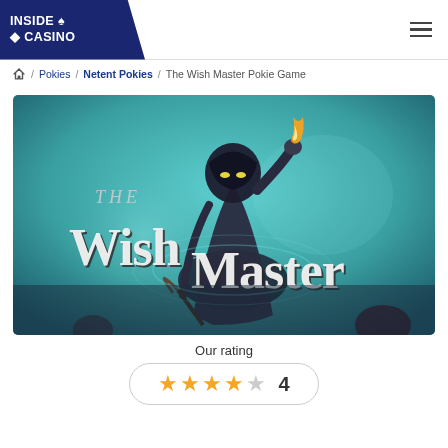INSIDE CASINO
Home / Pokies / Netent Pokies / The Wish Master Pokie Game
[Figure (illustration): The Wish Master pokie game banner showing a dark cloaked figure holding a flame against a teal background with large stylized text reading 'The Wish Master']
Our rating
★★★★☆ 4